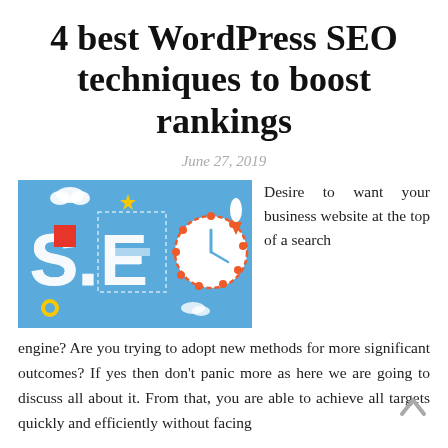4 best WordPress SEO techniques to boost rankings
June 27, 2019
[Figure (illustration): Colorful illustration of the letters S, E, O in a flat design style with icons related to SEO such as rockets, clouds, gears, and a clock face on a light blue background.]
Desire to want your business website at the top of a search engine? Are you trying to adopt new methods for more significant outcomes? If yes then don't panic more as here we are going to discuss all about it. From that, you are able to achieve all targets quickly and efficiently without facing